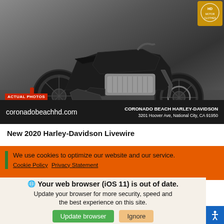[Figure (photo): Black Harley-Davidson Livewire electric motorcycle photographed against a gray concrete/industrial background, side profile view showing the distinctive electric powertrain and modern styling.]
ACTUAL PHOTOS
coronadobeachhd.com
CORONADO BEACH HARLEY-DAVIDSON
3201 Hoover Ave, National City, CA 91950
New 2020 Harley-Davidson Livewire
We use cookies to optimize our website and our service.
Cookie Policy   Privacy Statement
Your web browser (iOS 11) is out of date.
Update your browser for more security, speed and the best experience on this site.
Update browser
Ignore